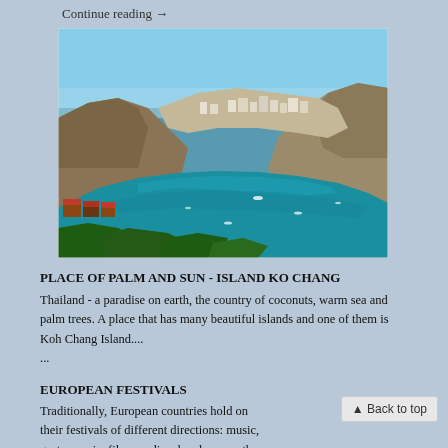Continue reading →
[Figure (photo): Aerial view of a coastal bay with turquoise water surrounded by rocky hills and green vegetation, with a small town visible at the far end of the bay. Several small boats are on the water.]
PLACE OF PALM AND SUN - ISLAND KO CHANG
Thailand - a paradise on earth, the country of coconuts, warm sea and palm trees. A place that has many beautiful islands and one of them is Koh Chang Island....
...
EUROPEAN FESTIVALS
Traditionally, European countries hold on their festivals of different directions: music, gastronomic, film, medieval and many others. To visit such an event means not